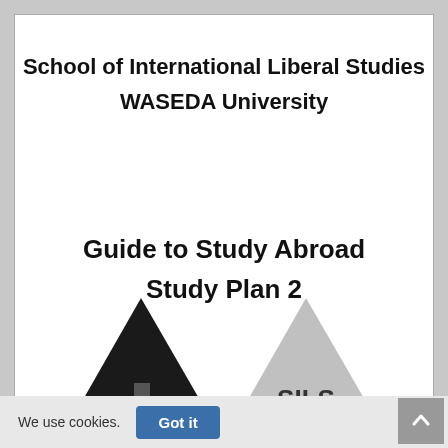School of International Liberal Studies
WASEDA University
Guide to Study Abroad
Study Plan 2
[Figure (logo): Two triangular logos side by side: a dark/black triangle on the left (appears to be Waseda University building logo) and a light grey triangle on the right with 'SILS' text inside]
We use cookies.